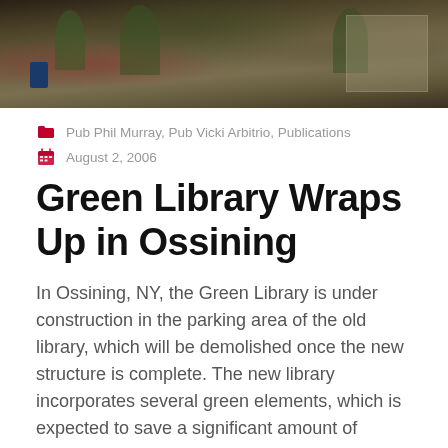[Figure (photo): Street scene photo showing buildings and trees in Ossining, NY]
Pub Phil Murray, Pub Vicki Arbitrio, Publications
August 2, 2006
Green Library Wraps Up in Ossining
In Ossining, NY, the Green Library is under construction in the parking area of the old library, which will be demolished once the new structure is complete. The new library incorporates several green elements, which is expected to save a significant amount of energy cost.
Download Article
Read more